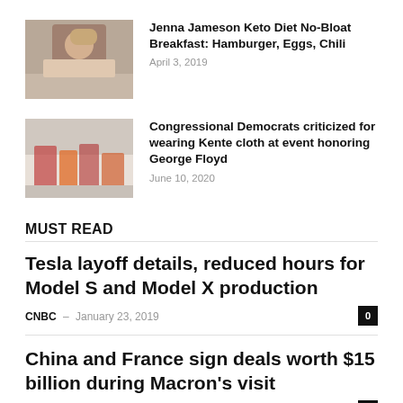[Figure (photo): Woman wearing a hat with tattoos]
Jenna Jameson Keto Diet No-Bloat Breakfast: Hamburger, Eggs, Chili
April 3, 2019
[Figure (photo): Congressional Democrats at an event]
Congressional Democrats criticized for wearing Kente cloth at event honoring George Floyd
June 10, 2020
MUST READ
Tesla layoff details, reduced hours for Model S and Model X production
CNBC – January 23, 2019
China and France sign deals worth $15 billion during Macron's visit
Reuters – November 6, 2019